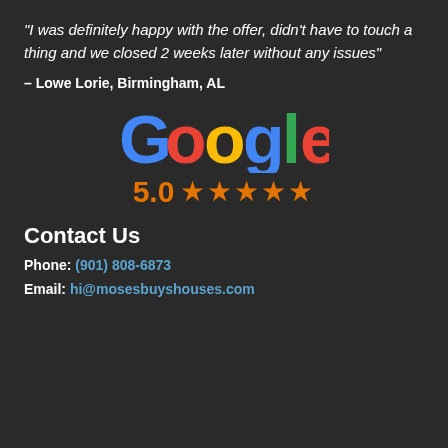"I was definitely happy with the offer, didn't have to touch a thing and we closed 2 weeks later without any issues"
– Lowe Lorie, Birmingham, AL
[Figure (logo): Google logo with colorful letters and 5.0 star rating in orange]
Contact Us
Phone: (901) 808-6873
Email: hi@mosesbuyshouses.com